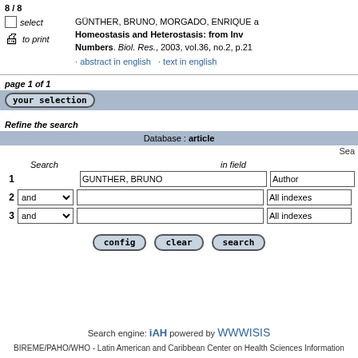8 / 8
GÜNTHER, BRUNO, MORGADO, ENRIQUE a  Homeostasis and Heterostasis: from Inv Numbers. Biol. Res., 2003, vol.36, no.2, p.21 · abstract in english · text in english
page 1 of 1
your selection
Refine the search
Database : article
Sea
|  | Search | in field |
| --- | --- | --- |
| 1 | GUNTHER, BRUNO | Author |
| 2 and |  | All indexes |
| 3 and |  | All indexes |
config   clear   search
Search engine: iAH powered by WWWISIS
BIREME/PAHO/WHO - Latin American and Caribbean Center on Health Sciences Information